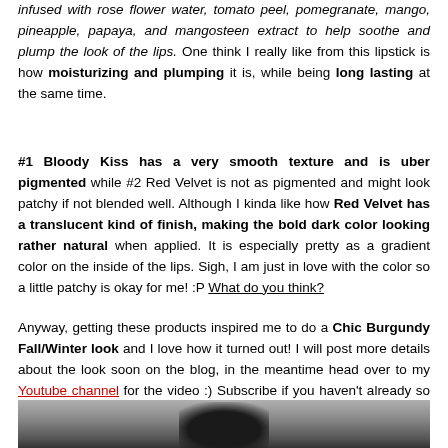infused with rose flower water, tomato peel, pomegranate, mango, pineapple, papaya, and mangosteen extract to help soothe and plump the look of the lips. One think I really like from this lipstick is how moisturizing and plumping it is, while being long lasting at the same time.
#1 Bloody Kiss has a very smooth texture and is uber pigmented while #2 Red Velvet is not as pigmented and might look patchy if not blended well. Although I kinda like how Red Velvet has a translucent kind of finish, making the bold dark color looking rather natural when applied. It is especially pretty as a gradient color on the inside of the lips. Sigh, I am just in love with the color so a little patchy is okay for me! :P What do you think?
Anyway, getting these products inspired me to do a Chic Burgundy Fall/Winter look and I love how it turned out! I will post more details about the look soon on the blog, in the meantime head over to my Youtube channel for the video :) Subscribe if you haven't already so you don't miss the next video I'm going to upload!
[Figure (photo): Black and white photo of a person with dark hair, cropped showing the top of the head]